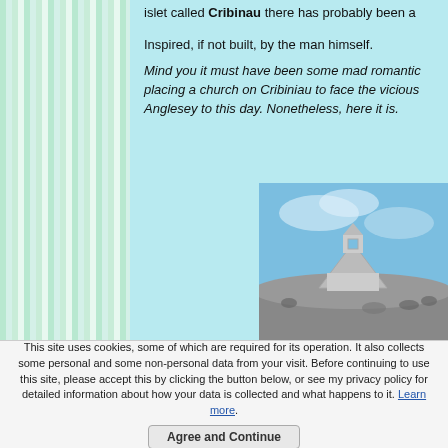islet called Cribinau there has probably been a
Inspired, if not built, by the man himself.
Mind you it must have been some mad romantic placing a church on Cribiniau to face the vicious Anglesey to this day. Nonetheless, here it is.
[Figure (photo): Photograph of a small stone church or chapel with a bell-cote silhouetted against a blue sky, with people gathered around it.]
This site uses cookies, some of which are required for its operation. It also collects some personal and some non-personal data from your visit. Before continuing to use this site, please accept this by clicking the button below, or see my privacy policy for detailed information about how your data is collected and what happens to it. Learn more.
Agree and Continue